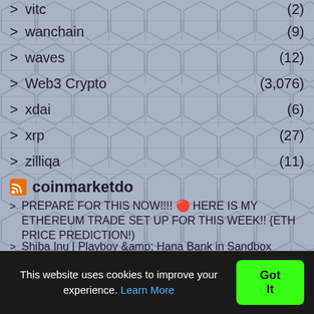vitc (2)
wanchain (9)
waves (12)
Web3 Crypto (3,076)
xdai (6)
xrp (27)
zilliqa (11)
coinmarketdo
PREPARE FOR THIS NOW!!!! 🔴 HERE IS MY ETHEREUM TRADE SET UP FOR THIS WEEK!! {ETH PRICE PREDICTION!)
Shiba Inu | Playboy &amp; Hana Bank in Sandbox Metaverse | Crypto Credit Card
Zero Censorship on solcial
What Really Happened To Fook...
This website uses cookies to improve your experience. Learn More